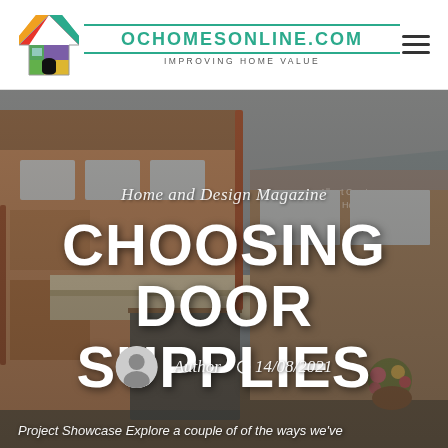OCHOMESONLINE.COM — IMPROVING HOME VALUE
[Figure (photo): Exterior photo of a brick house with large windows and conservatory extension, used as hero background image]
Home and Design Magazine
CHOOSING DOOR SUPPLIES
Author   14/08/2021
Project Showcase Explore a couple of of the ways we've